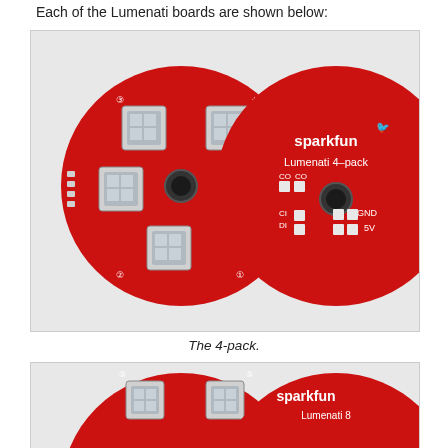Each of the Lumenati boards are shown below:
[Figure (photo): Two views of the SparkFun Lumenati 4-pack circular red PCB board. Left side shows the front with four APA102 RGB LEDs arranged in a cross pattern on a red circular board with a center hole. Right side shows the back labeled 'sparkfun Lumenati 4-pack' with connection pads for CO, CI, DI, GND, and 5V.]
The 4-pack.
[Figure (photo): Two views of another SparkFun Lumenati board (partially visible, cropped at bottom of page). Left side shows front with LEDs, right side shows back with sparkfun branding and 'Lumenati' text.]